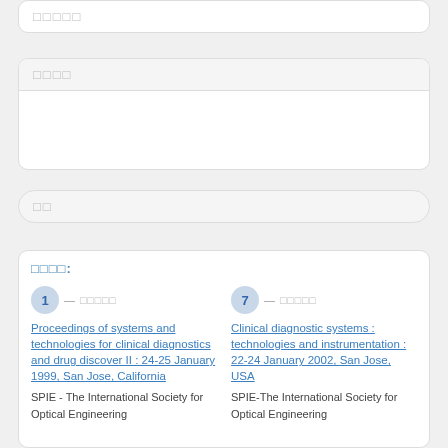□□□□□
□□□□
□□
□□□□:
1 — □□□□□ — Proceedings of systems and technologies for clinical diagnostics and drug discover II : 24-25 January 1999, San Jose, California — SPIE - The International Society for Optical Engineering
7 — □□□□□ — Clinical diagnostic systems : technologies and instrumentation : 22-24 January 2002, San Jose, USA — SPIE-The International Society for Optical Engineering